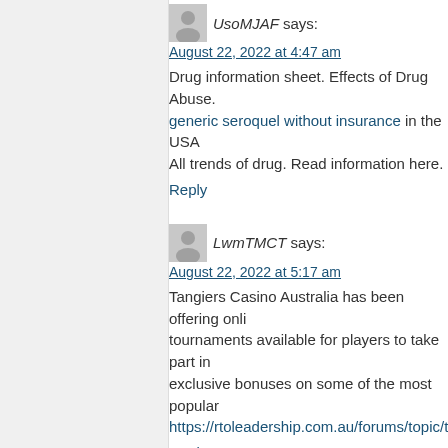UsoMJAF says: August 22, 2022 at 4:47 am
Drug information sheet. Effects of Drug Abuse. generic seroquel without insurance in the USA All trends of drug. Read information here.
Reply
LwmTMCT says: August 22, 2022 at 5:17 am
Tangiers Casino Australia has been offering online tournaments available for players to take part in exclusive bonuses on some of the most popular https://rtoleadership.com.au/forums/topic/tangie
Reply
BplNRZG says: August 22, 2022 at 12:41 pm
If youвЂ™re having trouble playing at Tangiers 1300 791 205. TheyвЂ™ll be happy to help you https://www.rykiesmith.com.au/forum/general-dis
Reply